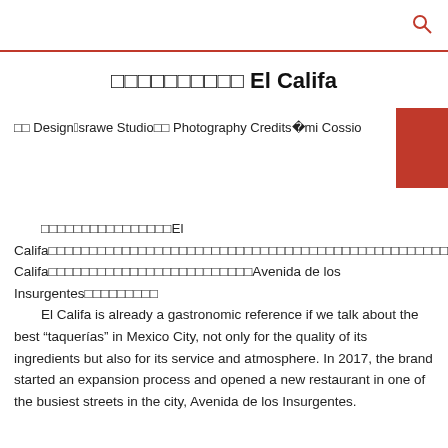□□□□□□□□□□ El Califa
□□ Design：Esrawe Studio□□ Photography Credits：Cami Cossio
□□□□□□□□□□□□□□□□El Califa□□□□□□□□□□□□□□□□□□□□□□□□□□□□□□□□□□□□□□□□□□□□□□□2017□□El Califa□□□□□□□□□□□□□□□□□□□□□□□□□Avenida de los Insurgentes□□□□□□□□□
El Califa is already a gastronomic reference if we talk about the best “taquerías” in Mexico City, not only for the quality of its ingredients but also for its service and atmosphere. In 2017, the brand started an expansion process and opened a new restaurant in one of the busiest streets in the city, Avenida de los Insurgentes.